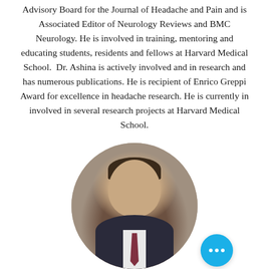Advisory Board for the Journal of Headache and Pain and is Associated Editor of Neurology Reviews and BMC Neurology. He is involved in training, mentoring and educating students, residents and fellows at Harvard Medical School. Dr. Ashina is actively involved and in research and has numerous publications. He is recipient of Enrico Greppi Award for excellence in headache research. He is currently in involved in several research projects at Harvard Medical School.
[Figure (photo): Circular portrait photo of Dr. Ashina, a middle-aged man in a dark suit with tie, photographed indoors]